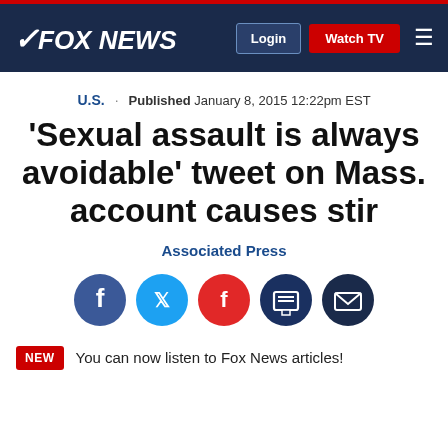FOX NEWS | Login | Watch TV
U.S. · Published January 8, 2015 12:22pm EST
'Sexual assault is always avoidable' tweet on Mass. account causes stir
Associated Press
[Figure (infographic): Social sharing icons: Facebook, Twitter, Flipboard, Print, Email]
NEW  You can now listen to Fox News articles!